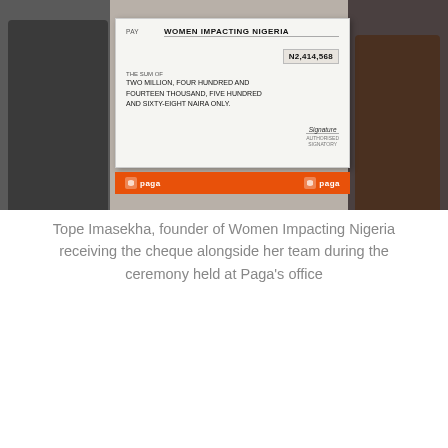[Figure (photo): Photo of Tope Imasekha and her team standing on either side of a large ceremonial cheque. The cheque is made out to WOMEN IMPACTING NIGERIA for N2,414,568 (Two Million, Four Hundred and Fourteen Thousand, Five Hundred and Sixty-Eight Naira Only). The cheque is branded with the Paga logo on an orange banner at the bottom.]
Tope Imasekha, founder of Women Impacting Nigeria receiving the cheque alongside her team during the ceremony held at Paga's office